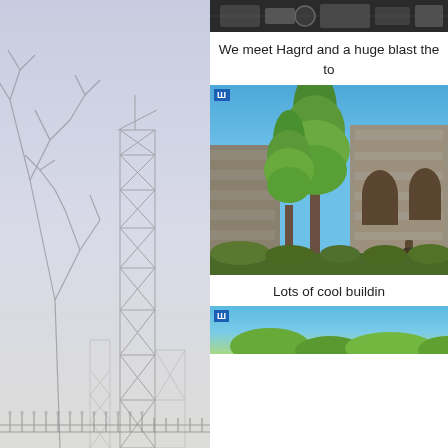[Figure (photo): Large photo of a roller coaster steel structure/scaffolding with bare tree branches in the foreground, light grey-blue sky background. Iron fence visible at bottom.]
[Figure (photo): Partial top image showing dark machinery/mechanical parts]
We meet Hagrd and a huge blast the to
[Figure (photo): Photo of stone ruins/castle walls with tall pine trees in front, blue sky in background. Appears to be from a theme park (Wizarding World of Harry Potter).]
Lots of cool buildin
[Figure (photo): Partial bottom photo showing blue sky and green trees/foliage]